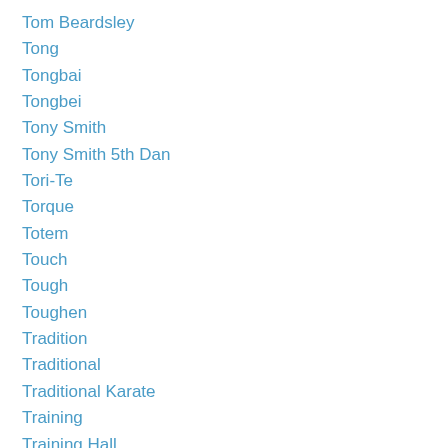Tom Beardsley
Tong
Tongbai
Tongbei
Tony Smith
Tony Smith 5th Dan
Tori-Te
Torque
Totem
Touch
Tough
Toughen
Tradition
Traditional
Traditional Karate
Training
Training Hall
Training Hall China
Tranquil
Tranquillity